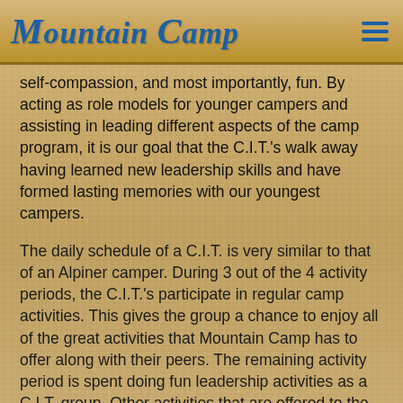Mountain Camp
self-compassion, and most importantly, fun. By acting as role models for younger campers and assisting in leading different aspects of the camp program, it is our goal that the C.I.T.'s walk away having learned new leadership skills and have formed lasting memories with our youngest campers.
The daily schedule of a C.I.T. is very similar to that of an Alpiner camper. During 3 out of the 4 activity periods, the C.I.T.'s participate in regular camp activities. This gives the group a chance to enjoy all of the great activities that Mountain Camp has to offer along with their peers. The remaining activity period is spent doing fun leadership activities as a C.I.T. group. Other activities that are offered to the C.I.T.'s include, but are not limited to:
A White Water Rafting trip